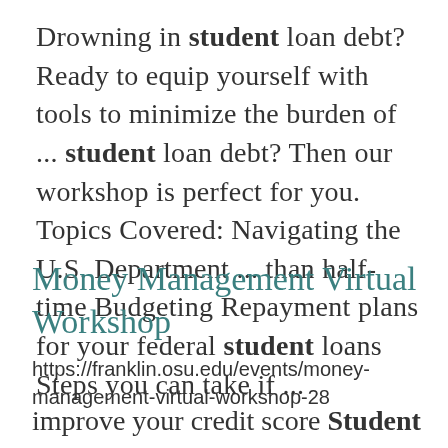Drowning in student loan debt? Ready to equip yourself with tools to minimize the burden of ... student loan debt? Then our workshop is perfect for you.  Topics Covered: Navigating the U.S. Department ... than half-time Budgeting Repayment plans for your federal student loans Steps you can take if ...
Money Management Virtual Workshop
https://franklin.osu.edu/events/money-management-virtual-workshop-28
improve your credit score Student loan debt management The Money...